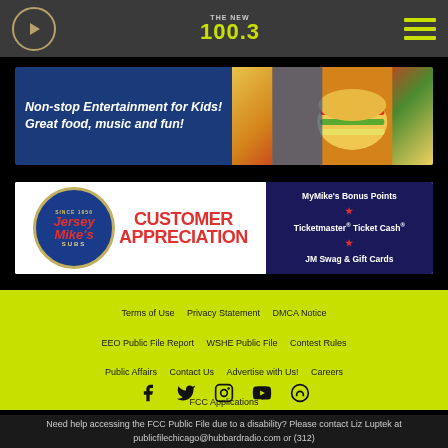100.3 radio station header with play button and hamburger menu
[Figure (photo): Advertisement banner: Non-stop Entertainment for Kids! Great food, music and fun! with image of burger/food on right]
[Figure (photo): Jersey Mike's Customer Appreciation advertisement with logo and MyMike's Bonus Points, Ticketmaster Ticket Cash, JM Swag & Gift Cards]
Terms of Use   Privacy Statement   DMCA Notice   EEO Public File Report   WSHE Public File   Contest Rules   Public Affairs   Contact Us   Advertise with Us!   Careers   FCC Applications
[Figure (infographic): Social media icons: Facebook, Twitter, Instagram, YouTube, and another icon]
Need help accessing the FCC Public File due to a disability? Please contact Liz Luptek at publicfilechicago@hubbardradio.com or (312)